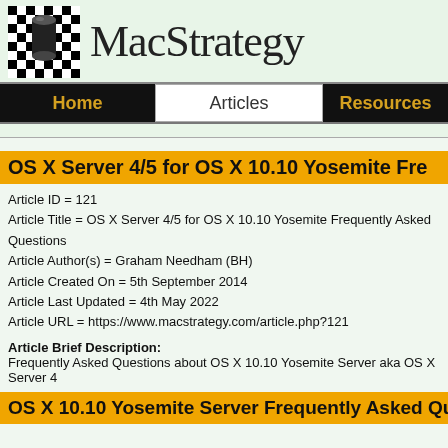[Figure (logo): MacStrategy website header with chess-pattern logo icon (black and white checkerboard with a Mac Pro cylinder) and site name 'MacStrategy' in serif font]
MacStrategy
Home | Articles | Resources
OS X Server 4/5 for OS X 10.10 Yosemite Fre...
Article ID = 121
Article Title = OS X Server 4/5 for OS X 10.10 Yosemite Frequently Asked Questions
Article Author(s) = Graham Needham (BH)
Article Created On = 5th September 2014
Article Last Updated = 4th May 2022
Article URL = https://www.macstrategy.com/article.php?121
Article Brief Description:
Frequently Asked Questions about OS X 10.10 Yosemite Server aka OS X Server 4
OS X 10.10 Yosemite Server Frequently Asked Que...